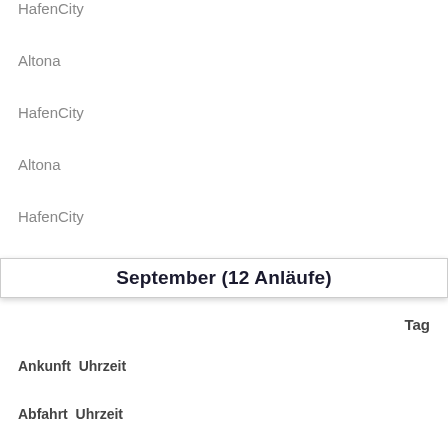HafenCity
Altona
HafenCity
Altona
HafenCity
September (12 Anläufe)
Tag
Ankunft  Uhrzeit
Abfahrt  Uhrzeit